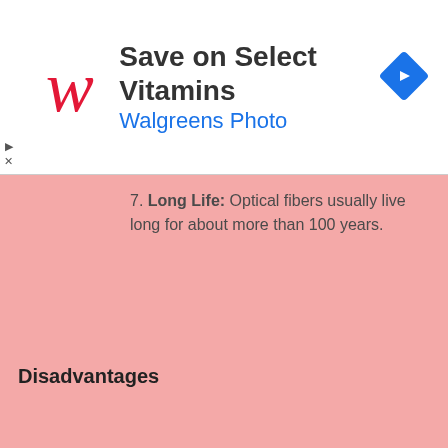[Figure (other): Walgreens advertisement banner with red cursive W logo, text 'Save on Select Vitamins' and 'Walgreens Photo', and a blue navigation diamond icon]
7. Long Life: Optical fibers usually live long for about more than 100 years.
Disadvantages
1. Limited Application: Can only be used on ground, cannot...